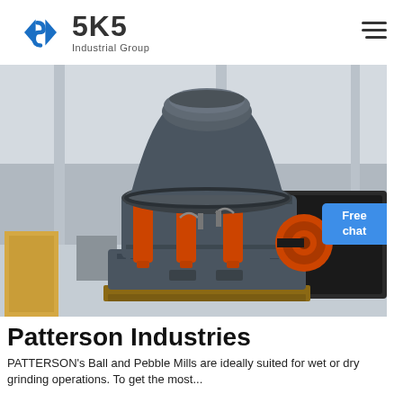[Figure (logo): SKS Industrial Group logo with blue diamond/arrow icon and bold SKS text]
[Figure (photo): Industrial cone crusher machine in a factory setting, gray color with orange hydraulic cylinders and pulleys, on wooden pallets]
Patterson Industries
PATTERSON's Ball and Pebble Mills are ideally suited for wet or dry grinding operations. To get the most...